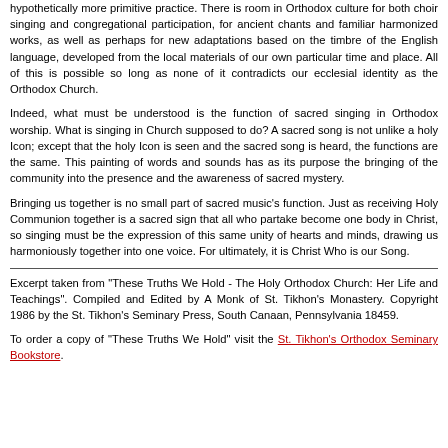hypothetically more primitive practice. There is room in Orthodox culture for both choir singing and congregational participation, for ancient chants and familiar harmonized works, as well as perhaps for new adaptations based on the timbre of the English language, developed from the local materials of our own particular time and place. All of this is possible so long as none of it contradicts our ecclesial identity as the Orthodox Church.
Indeed, what must be understood is the function of sacred singing in Orthodox worship. What is singing in Church supposed to do? A sacred song is not unlike a holy Icon; except that the holy Icon is seen and the sacred song is heard, the functions are the same. This painting of words and sounds has as its purpose the bringing of the community into the presence and the awareness of sacred mystery.
Bringing us together is no small part of sacred music's function. Just as receiving Holy Communion together is a sacred sign that all who partake become one body in Christ, so singing must be the expression of this same unity of hearts and minds, drawing us harmoniously together into one voice. For ultimately, it is Christ Who is our Song.
Excerpt taken from "These Truths We Hold - The Holy Orthodox Church: Her Life and Teachings". Compiled and Edited by A Monk of St. Tikhon's Monastery. Copyright 1986 by the St. Tikhon's Seminary Press, South Canaan, Pennsylvania 18459.
To order a copy of "These Truths We Hold" visit the St. Tikhon's Orthodox Seminary Bookstore.